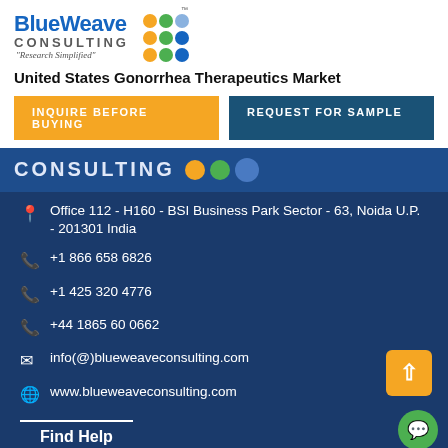[Figure (logo): BlueWeave Consulting logo with colored dot grid and tagline 'Research Simplified']
United States Gonorrhea Therapeutics Market
INQUIRE BEFORE BUYING
REQUEST FOR SAMPLE
Office 112 - H160 - BSI Business Park Sector - 63, Noida U.P. - 201301 India
+1 866 658 6826
+1 425 320 4776
+44 1865 60 0662
info(@)blueweaveconsulting.com
www.blueweaveconsulting.com
Find Help